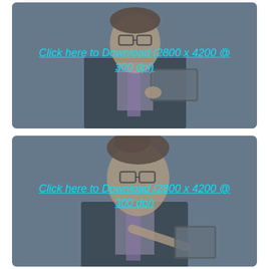[Figure (photo): Man wearing glasses and a dark suit with purple tie, holding a tablet device, on a grey-blue background. Overlay text link reads: Click here to Download (2800 x 4200 @ 300 dpi)]
[Figure (photo): Same man wearing glasses and a dark suit with purple tie, pointing at a tablet device, on a grey-blue background. Overlay text link reads: Click here to Download (2800 x 4200 @ 300 dpi)]